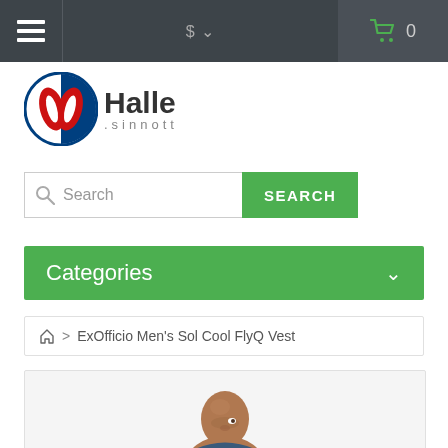Navigation bar with hamburger menu, currency selector ($), and shopping cart (0 items)
[Figure (logo): Halle Sinnott brand logo with circular blue/red/white symbol and text 'Halle .sinnott']
Search
Categories
Home > ExOfficio Men's Sol Cool FlyQ Vest
[Figure (photo): Partial photo of a bald man's head and upper body, product model for ExOfficio Men's Sol Cool FlyQ Vest]